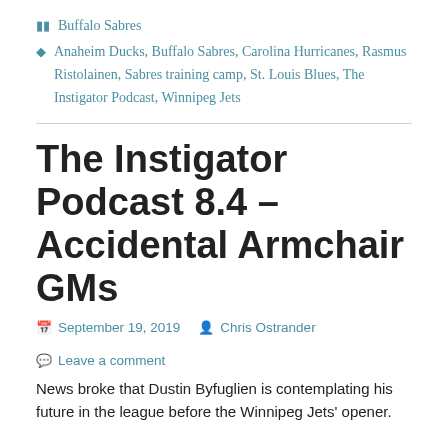Buffalo Sabres
Anaheim Ducks, Buffalo Sabres, Carolina Hurricanes, Rasmus Ristolainen, Sabres training camp, St. Louis Blues, The Instigator Podcast, Winnipeg Jets
The Instigator Podcast 8.4 – Accidental Armchair GMs
September 19, 2019  Chris Ostrander  Leave a comment
News broke that Dustin Byfuglien is contemplating his future in the league before the Winnipeg Jets' opener.